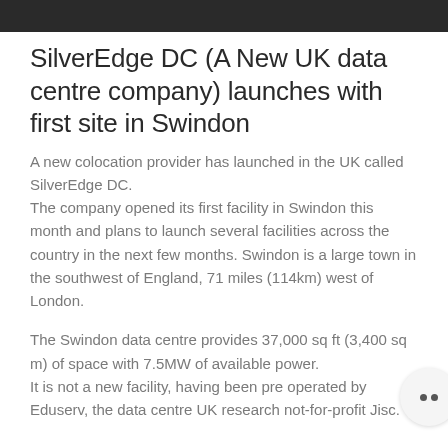SilverEdge DC (A New UK data centre company) launches with first site in Swindon
A new colocation provider has launched in the UK called SilverEdge DC.
The company opened its first facility in Swindon this month and plans to launch several facilities across the country in the next few months. Swindon is a large town in the southwest of England, 71 miles (114km) west of London.
The Swindon data centre provides 37,000 sq ft (3,400 sq m) of space with 7.5MW of available power.
It is not a new facility, having been pre-operated by Eduserv, the data centre UK research not-for-profit Jisc.